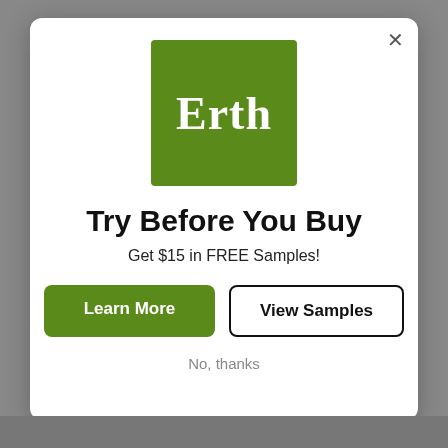[Figure (logo): Erth brand logo: green square with white serif text 'Erth']
Try Before You Buy
Get $15 in FREE Samples!
Learn More
View Samples
No, thanks